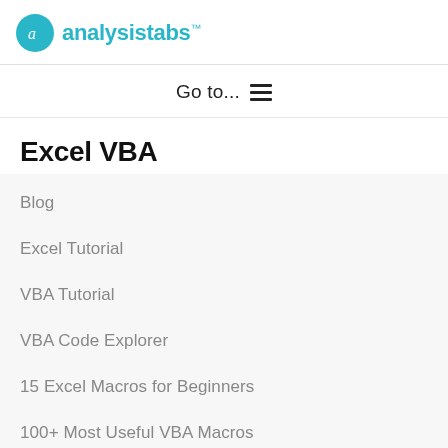analysistabs™
Go to...
Excel VBA
Blog
Excel Tutorial
VBA Tutorial
VBA Code Explorer
15 Excel Macros for Beginners
100+ Most Useful VBA Macros
VBA Projects
Templates